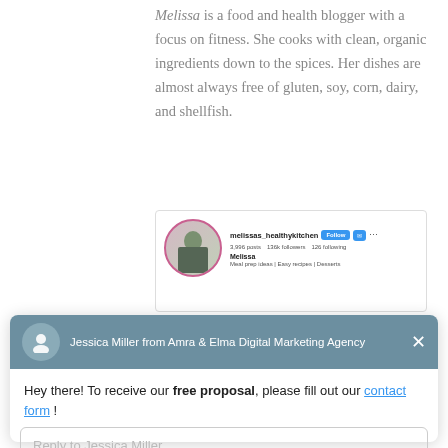Melissa is a food and health blogger with a focus on fitness. She cooks with clean, organic ingredients down to the spices. Her dishes are almost always free of gluten, soy, corn, dairy, and shellfish.
[Figure (screenshot): Instagram profile screenshot showing melissas_healthykitchen with 3,996 posts, 136k followers, 126 following, with Follow and message buttons]
Jessica Miller from Amra & Elma Digital Marketing Agency
Hey there! To receive our free proposal, please fill out our contact form !
Reply to Jessica Miller
Chat ⚡ by Drift